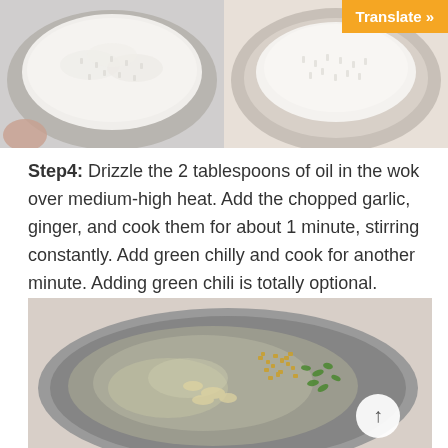[Figure (photo): Two side-by-side photos of rice in cooking vessels — left shows rice in a wok/pan, right shows rice in a strainer/colander with a Translate button overlay]
Step4: Drizzle the 2 tablespoons of oil in the wok over medium-high heat. Add the chopped garlic, ginger, and cook them for about 1 minute, stirring constantly. Add green chilly and cook for another minute. Adding green chili is totally optional.
[Figure (photo): A metal wok/pan viewed from above showing oil with chopped garlic, ginger, and green chili cooking in it, with a circular up-arrow button in the bottom right]